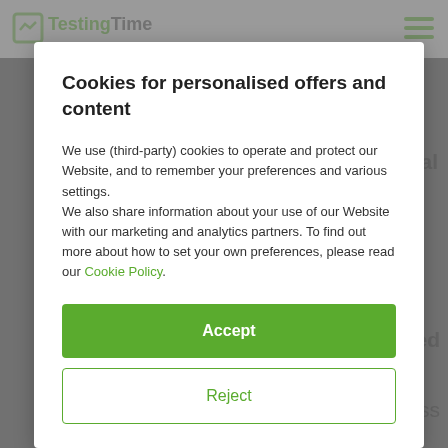[Figure (screenshot): Background website screenshot of TestingTime website, dimmed behind a cookie consent modal. Shows logo top-left, hamburger menu top-right, and partial text content including 'otal', 'ned', 'ss', 'f 5:1'.]
Cookies for personalised offers and content
We use (third-party) cookies to operate and protect our Website, and to remember your preferences and various settings.
We also share information about your use of our Website with our marketing and analytics partners. To find out more about how to set your own preferences, please read our Cookie Policy.
Accept
Reject